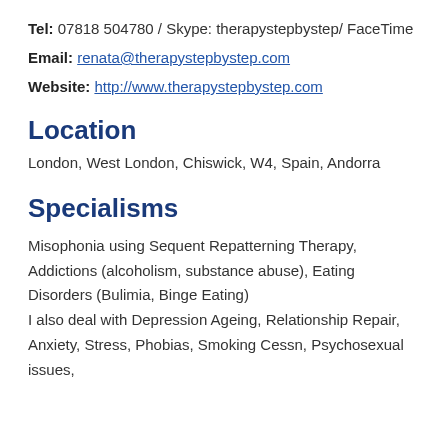Tel: 07818 504780 / Skype: therapystepbystep/ FaceTime
Email: renata@therapystepbystep.com
Website: http://www.therapystepbystep.com
Location
London, West London, Chiswick, W4, Spain, Andorra
Specialisms
Misophonia using Sequent Repatterning Therapy, Addictions (alcoholism, substance abuse), Eating Disorders (Bulimia, Binge Eating)
I also deal with Depression Ageing, Relationship Repair, Anxiety, Stress, Phobias, Smoking Cessn, Psychosexual issues,